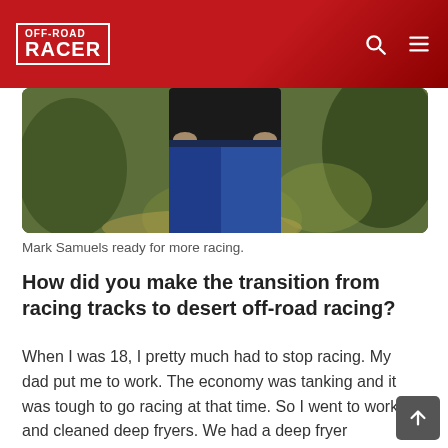OFF-ROAD RACER
[Figure (photo): Lower body of a person in jeans and dark top standing outdoors in a natural/garden setting with foliage in background. Mark Samuels.]
Mark Samuels ready for more racing.
How did you make the transition from racing tracks to desert off-road racing?
When I was 18, I pretty much had to stop racing. My dad put me to work. The economy was tanking and it was tough to go racing at that time. So I went to work and cleaned deep fryers. We had a deep fryer